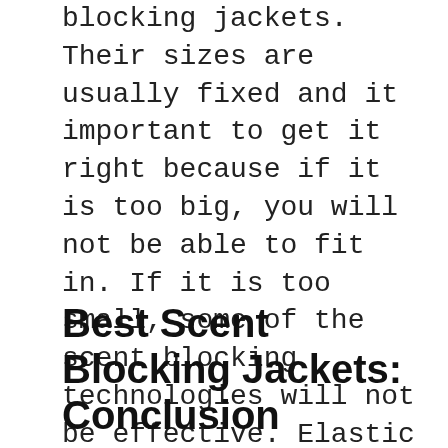blocking jackets. Their sizes are usually fixed and it important to get it right because if it is too big, you will not be able to fit in. If it is too small, some of the scent blocking technologies will not be effective. Elastic cuffs for instance, will not seal off the wrist exit point because, a small hand will leave spaces in between the cuff and your hand.
Best Scent Blocking Jackets: Conclusion